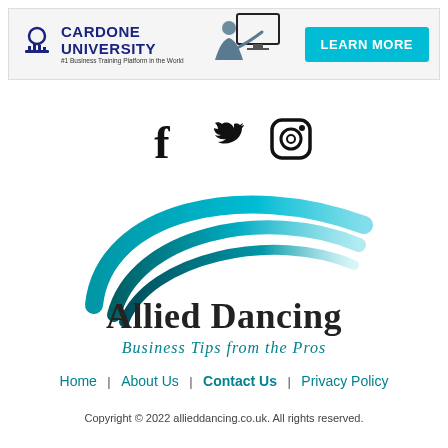[Figure (screenshot): Cardone University advertisement banner with logo, person image, and 'LEARN MORE' button]
[Figure (illustration): Social media icons: Facebook, Twitter, Instagram]
[Figure (logo): Allied Dancing logo with swoosh arcs and tagline 'Business Tips from the Pros']
Home | About Us | Contact Us | Privacy Policy
Copyright © 2022 allieddancing.co.uk. All rights reserved.